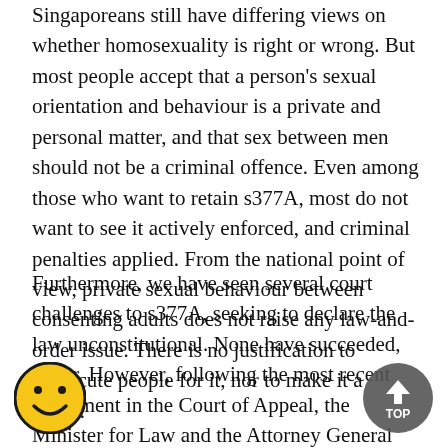Singaporeans still have differing views on whether homosexuality is right or wrong. But most people accept that a person's sexual orientation and behaviour is a private and personal matter, and that sex between men should not be a criminal offence. Even among those who want to retain s377A, most do not want to see it actively enforced, and criminal penalties applied. From the national point of view, private sexual behaviour between consenting adults does not raise any law-and-order issue. There is no justification to prosecute people for it, nor to make it a crime.
Furthermore, we have seen several court challenges to s377A, seeking to declare the law unconstitutional. None have succeeded, so far. However, following the most recent judgement in the Court of Appeal, the Minister for Law and the Attorney General have advised that in a future court challenge, there is a significant risk of s377A being struck on the grounds that it breaches the Equal Protection provision in the Constitution. We have to take that advice
[Figure (illustration): Yellow smiley face emoji overlaid in bottom-left corner]
[Figure (illustration): Dark grey circular TOP button with upward arrow overlaid in bottom-right corner]